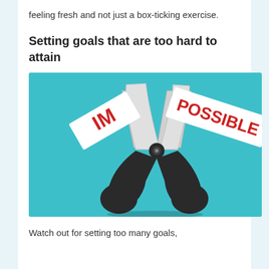feeling fresh and not just a box-ticking exercise.
Setting goals that are too hard to attain
[Figure (illustration): Scissors cutting a banner that reads 'IMPOSSIBLE', splitting it into 'IM' and 'POSSIBLE', on a teal background. The word 'IM' is on the left blade and 'POSSIBLE' on the right, both in red text on white banners.]
Watch out for setting too many goals,